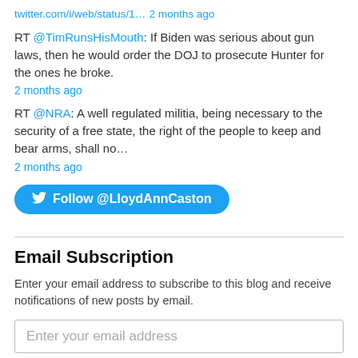twitter.com/i/web/status/1… 2 months ago
RT @TimRunsHisMouth: If Biden was serious about gun laws, then he would order the DOJ to prosecute Hunter for the ones he broke.
2 months ago
RT @NRA: A well regulated militia, being necessary to the security of a free state, the right of the people to keep and bear arms, shall no…
2 months ago
Follow @LloydAnnCaston
Email Subscription
Enter your email address to subscribe to this blog and receive notifications of new posts by email.
Enter your email address
Sign me up!